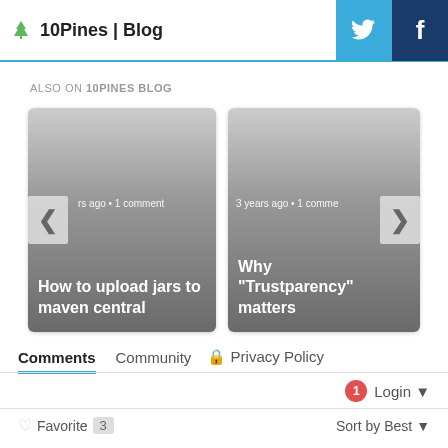10Pines | Blog
ALSO ON 10PINES BLOG
[Figure (screenshot): Blog post card: How to upload jars to maven central — 3 years ago, 1 comment]
[Figure (screenshot): Blog post card: Why Trustparency matters — 3 years ago, 1 comment]
Comments  Community  Privacy Policy
Login
Favorite  3  Sort by Best